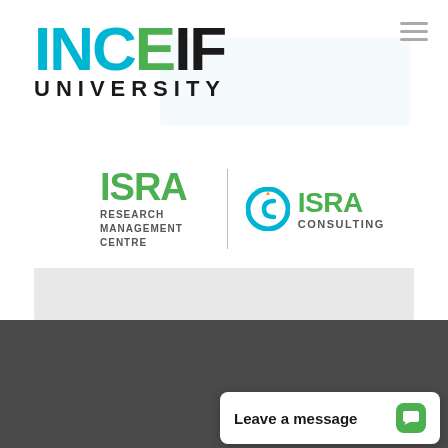[Figure (logo): INCEIF University logo with cyan/teal INCEIF text and dark UNIVERSITY text below]
[Figure (logo): ISRA Research Management Centre logo with green ISRA text]
[Figure (logo): ISRA Consulting logo with green C icon and ISRA CONSULTING text]
CONTACT US
INCEIF UNIVERSITY
University Registration No. DU018 (W)
International Centre for Edu
(Company No. 200501036